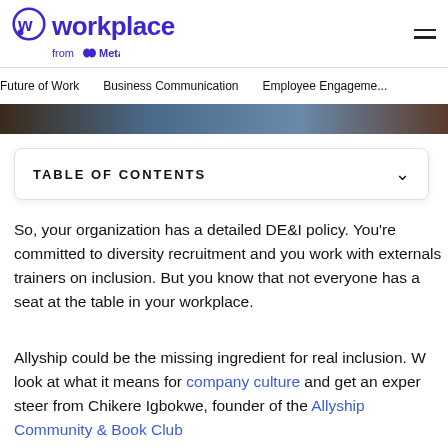Workplace from Meta
Future of Work | Business Communication | Employee Engagement
[Figure (photo): Partial photo strip showing people, cropped at top]
TABLE OF CONTENTS
So, your organization has a detailed DE&I policy. You're committed to diversity recruitment and you work with external trainers on inclusion. But you know that not everyone has a seat at the table in your workplace.
Allyship could be the missing ingredient for real inclusion. We look at what it means for company culture and get an expert steer from Chikere Igbokwe, founder of the Allyship Community & Book Club – a community for allies to connect